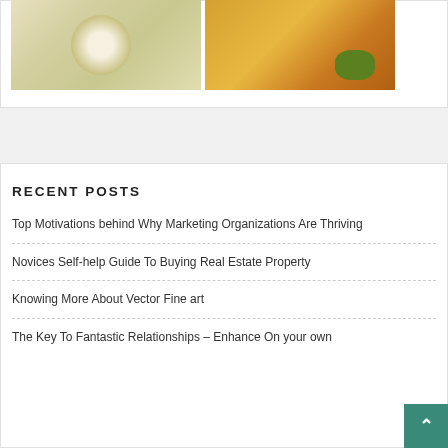[Figure (photo): Two food photos side by side: left shows a creamy soup or sauce dish, right shows pasta or tortellini with green vegetables]
RECENT POSTS
Top Motivations behind Why Marketing Organizations Are Thriving
Novices Self-help Guide To Buying Real Estate Property
Knowing More About Vector Fine art
The Key To Fantastic Relationships – Enhance On your own